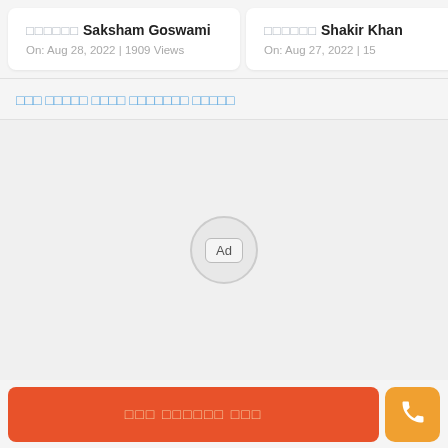□□□□□□ Saksham Goswami
On: Aug 28, 2022 | 1909 Views
□□□□□□ Shakir Khan
On: Aug 27, 2022 | 15...
□□□ □□□□□ □□□□ □□□□□□□ □□□□□
[Figure (other): Ad placeholder area with circular Ad button in center]
□□□ □□□□□□ □□□